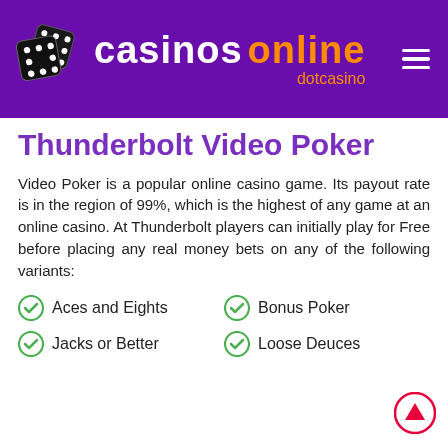[Figure (logo): Casinos Online dotcasino logo with two black dice and purple background. Site name shows 'casinos' in white bold text and 'online' in orange bold text, with 'dotcasino' in orange below. Hamburger menu icon in top right.]
Thunderbolt Video Poker
Video Poker is a popular online casino game. Its payout rate is in the region of 99%, which is the highest of any game at an online casino. At Thunderbolt players can initially play for Free before placing any real money bets on any of the following variants:
Aces and Eights
Bonus Poker
Jacks or Better
Loose Deuces